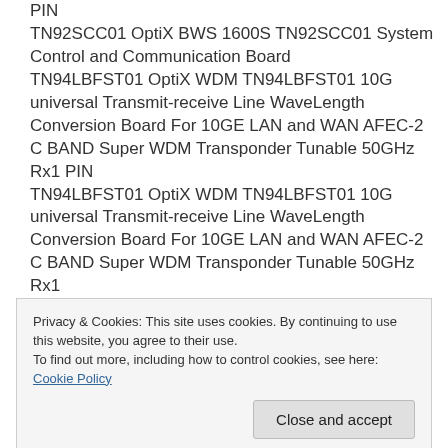PIN
TN92SCC01 OptiX BWS 1600S TN92SCC01 System Control and Communication Board
TN94LBFST01 OptiX WDM TN94LBFST01 10G universal Transmit-receive Line WaveLength Conversion Board For 10GE LAN and WAN AFEC-2 C BAND Super WDM Transponder Tunable 50GHz Rx1 PIN
TN94LBFST01 OptiX WDM TN94LBFST01 10G universal Transmit-receive Line WaveLength Conversion Board For 10GE LAN and WAN AFEC-2 C BAND Super WDM Transponder Tunable 50GHz Rx1
Privacy & Cookies: This site uses cookies. By continuing to use this website, you agree to their use.
To find out more, including how to control cookies, see here: Cookie Policy
PIN